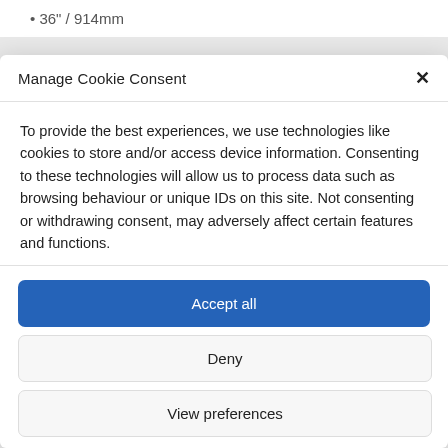36" / 914mm
Manage Cookie Consent
To provide the best experiences, we use technologies like cookies to store and/or access device information. Consenting to these technologies will allow us to process data such as browsing behaviour or unique IDs on this site. Not consenting or withdrawing consent, may adversely affect certain features and functions.
Accept all
Deny
View preferences
Cookie Policy   Privacy policy